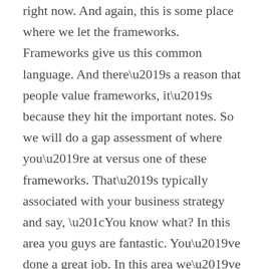right now. And again, this is some place where we let the frameworks. Frameworks give us this common language. And there's a reason that people value frameworks, it's because they hit the important notes. So we will do a gap assessment of where you're at versus one of these frameworks. That's typically associated with your business strategy and say, “You know what? In this area you guys are fantastic. You’ve done a great job. In this area we’ve got some problems and these problems are going to come back to haunt us in this way.” And we walk our way across all these security functions and get this view of you’re great here, you need help here, this has to be our critical focus in the